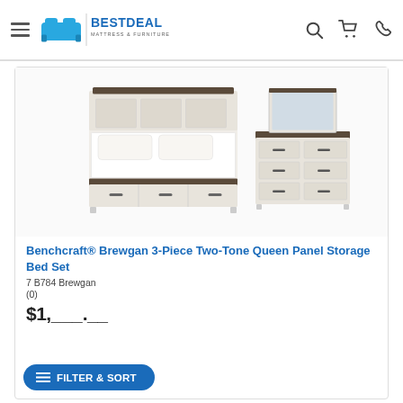BestDeal Mattress & Furniture
[Figure (photo): Product photo of Benchcraft Brewgan 3-piece two-tone queen panel storage bed set showing a bed with storage drawers and a dresser with mirror, both in white/grey two-tone finish]
Benchcraft® Brewgan 3-Piece Two-Tone Queen Panel Storage Bed Set
7 B784 Brewgan
(0)
$1,___.__